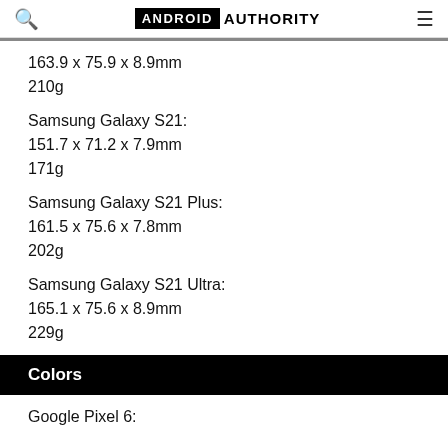ANDROID AUTHORITY
163.9 x 75.9 x 8.9mm
210g
Samsung Galaxy S21:
151.7 x 71.2 x 7.9mm
171g
Samsung Galaxy S21 Plus:
161.5 x 75.6 x 7.8mm
202g
Samsung Galaxy S21 Ultra:
165.1 x 75.6 x 8.9mm
229g
Colors
Google Pixel 6: